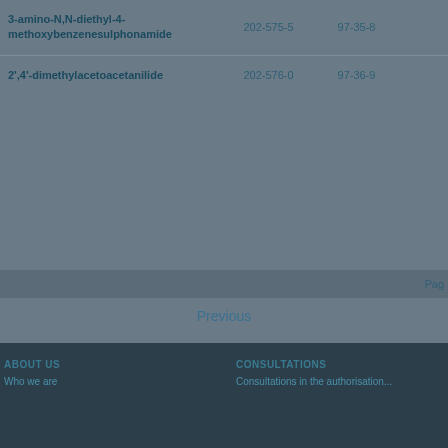| Name | EC Number | CAS Number |
| --- | --- | --- |
| 3-amino-N,N-diethyl-4-methoxybenzenesulphonamide | 202-575-5 | 97-35-8 |
| 2',4'-dimethylacetoacetanilide | 202-576-0 | 97-36-9 |
Pag...
Previous
ABOUT US | CONSULTATIONS | Who we are | Consultations in the authorisation...